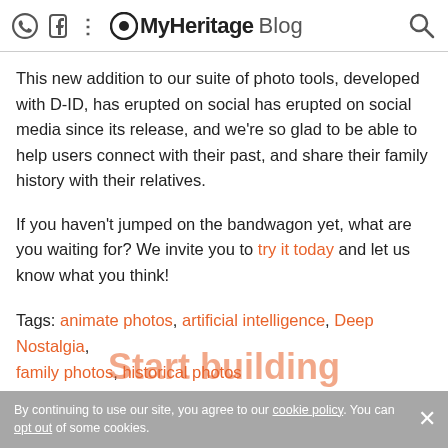MyHeritage Blog
This new addition to our suite of photo tools, developed with D-ID, has erupted on social has erupted on social media since its release, and we're so glad to be able to help users connect with their past, and share their family history with their relatives.
If you haven't jumped on the bandwagon yet, what are you waiting for? We invite you to try it today and let us know what you think!
Tags: animate photos, artificial intelligence, Deep Nostalgia, family photos, historical photos
By continuing to use our site, you agree to our cookie policy. You can opt out of some cookies.
Start building